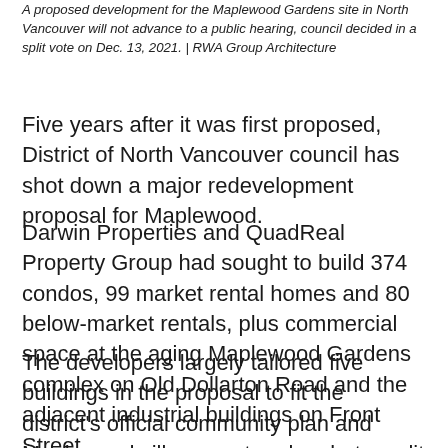A proposed development for the Maplewood Gardens site in North Vancouver will not advance to a public hearing, council decided in a split vote on Dec. 13, 2021. | RWA Group Architecture
Five years after it was first proposed, District of North Vancouver council has shot down a major redevelopment proposal for Maplewood.
Darwin Properties and QuadReal Property Group had sought to build 374 condos, 99 market rental homes and 80 below-market rentals, plus commercial space at the aging Maplewood Gardens complex on Old Dollarton Road and the adjacent industrial buildings on Front Street.
The developers largely tailored five buildings in the proposal to fit the district's official community plan and Maplewood village centre plan, but a split council voted 4-3 to defeat first reading of the rezoning bylaw,